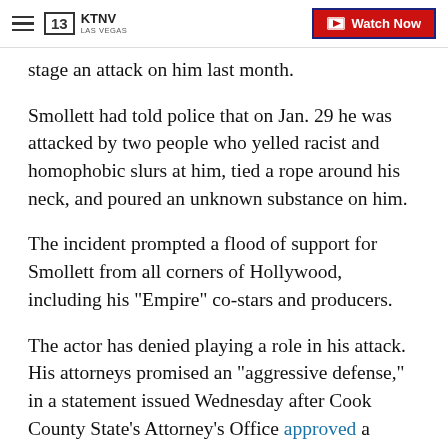KTNV LAS VEGAS | Watch Now
stage an attack on him last month.
Smollett had told police that on Jan. 29 he was attacked by two people who yelled racist and homophobic slurs at him, tied a rope around his neck, and poured an unknown substance on him.
The incident prompted a flood of support for Smollett from all corners of Hollywood, including his "Empire" co-stars and producers.
The actor has denied playing a role in his attack. His attorneys promised an "aggressive defense," in a statement issued Wednesday after Cook County State's Attorney's Office approved a felony disorderly conduct charge against Smollett.